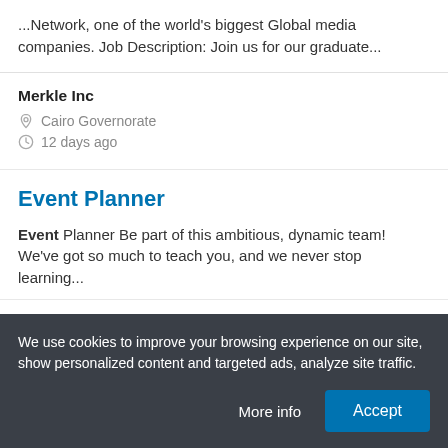...Network, one of the world's biggest Global media companies. Job Description: Join us for our graduate...
Merkle Inc
Cairo Governorate
12 days ago
Event Planner
Event Planner Be part of this ambitious, dynamic team! We've got so much to teach you, and we never stop learning...
The Creative Zone
We use cookies to improve your browsing experience on our site, show personalized content and targeted ads, analyze site traffic.
More info
Accept